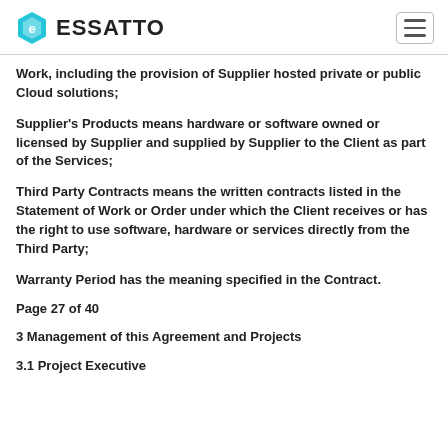ESSATTO
Work, including the provision of Supplier hosted private or public Cloud solutions;
Supplier's Products means hardware or software owned or licensed by Supplier and supplied by Supplier to the Client as part of the Services;
Third Party Contracts means the written contracts listed in the Statement of Work or Order under which the Client receives or has the right to use software, hardware or services directly from the Third Party;
Warranty Period has the meaning specified in the Contract.
Page 27 of 40
3 Management of this Agreement and Projects
3.1 Project Executive